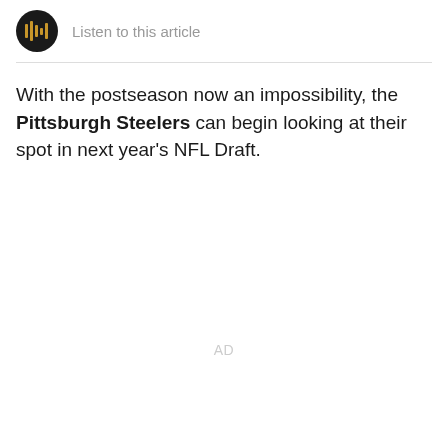[Figure (other): Audio player button with play icon and bars icon in dark circle, with 'Listen to this article' text]
With the postseason now an impossibility, the Pittsburgh Steelers can begin looking at their spot in next year's NFL Draft.